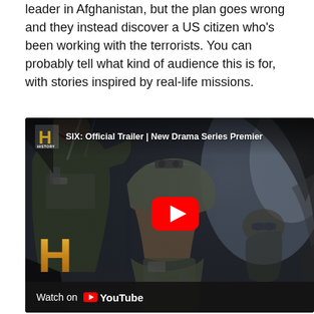leader in Afghanistan, but the plan goes wrong and they instead discover a US citizen who's been working with the terrorists. You can probably tell what kind of audience this is for, with stories inspired by real-life missions.
[Figure (screenshot): YouTube video thumbnail for 'SIX: Official Trailer | New Drama Series Premiere' on the HISTORY channel. Shows military soldiers in tactical gear inside a helicopter or vehicle, with a red YouTube play button in the center. History channel 'H' logo appears at top left and large in bottom left. Bottom bar reads 'Watch on YouTube'.]